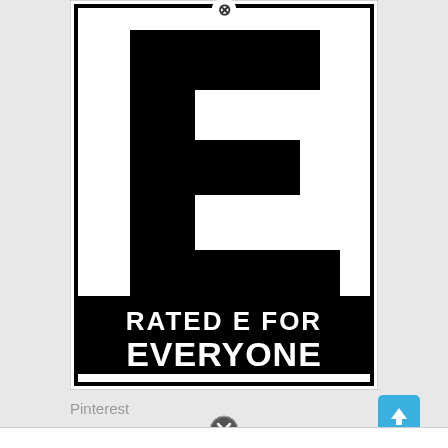[Figure (logo): ESRB 'Rated E for Everyone' rating logo — large black rectangle with a tilted black letter E on white background in the upper portion, and 'RATED E FOR EVERYONE' in bold white text on black background in the lower portion. A small circled-X close button appears at the top center of the image.]
Pinterest